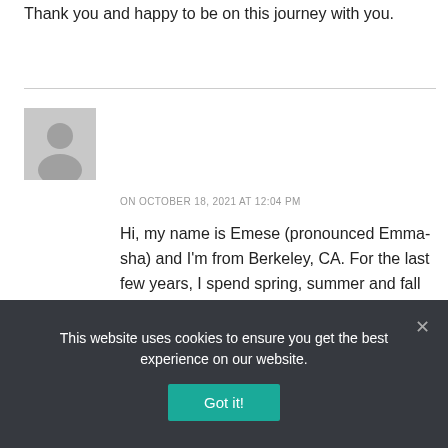Thank you and happy to be on this journey with you.
ON OCTOBER 18, 2021 AT 12:04 PM
[Figure (illustration): Generic grey user avatar placeholder image]
Hi, my name is Emese (pronounced Emma-sha) and I'm from Berkeley, CA. For the last few years, I spend spring, summer and fall in the Transylvanian region of Romania where I have a high end immersive agritourism guesthouse with organic farm.
This website uses cookies to ensure you get the best experience on our website.